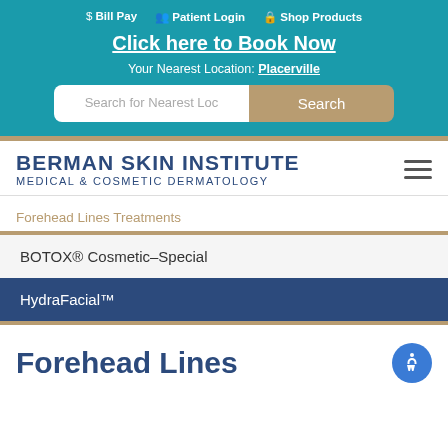$ Bill Pay  Patient Login  Shop Products
Click here to Book Now
Your Nearest Location: Placerville
[Figure (screenshot): Search for Nearest Location input field with Search button]
[Figure (logo): Berman Skin Institute Medical & Cosmetic Dermatology logo with hamburger menu]
Forehead Lines Treatments
BOTOX® Cosmetic–Special
HydraFacial™
Forehead Lines